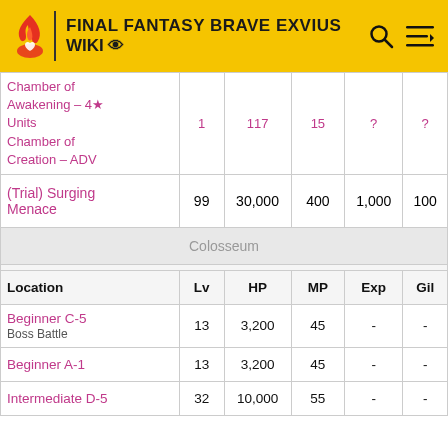FINAL FANTASY BRAVE EXVIUS WIKI
| Location | Lv | HP | MP | Exp | Gil |
| --- | --- | --- | --- | --- | --- |
| Chamber of Awakening - 4★ Units / Chamber of Creation - ADV | 1 | 117 | 15 | ? | ? |
| (Trial) Surging Menace | 99 | 30,000 | 400 | 1,000 | 100 |
| Colosseum |  |  |  |  |  |
| Location | Lv | HP | MP | Exp | Gil |
| Beginner C-5 (Boss Battle) | 13 | 3,200 | 45 | - | - |
| Beginner A-1 | 13 | 3,200 | 45 | - | - |
| Intermediate D-5 | 32 | 10,000 | 55 | - | - |